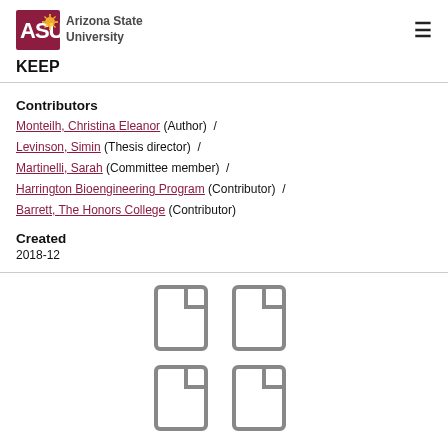Arizona State University — KEEP
Contributors
Monteilh, Christina Eleanor (Author) / Levinson, Simin (Thesis director) / Martinelli, Sarah (Committee member) / Harrington Bioengineering Program (Contributor) / Barrett, The Honors College (Contributor)
Created
2018-12
[Figure (illustration): Four document/file icons arranged in a 2x2 grid]